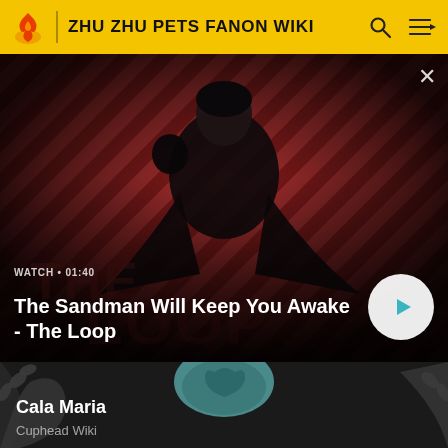ZHU ZHU PETS FANON WIKI
[Figure (screenshot): Video thumbnail showing a dark figure in a black cloak with a raven on shoulder, against a red diagonal striped background with 'THE LOOP' text. Overlay shows watch time 01:40 and title 'The Sandman Will Keep You Awake - The Loop' with a play button.]
[Figure (screenshot): Partial image of Cala Maria character from Cuphead Wiki, showing an animated octopus-like character with raised tentacle arms and a blue shell/body against a dark background.]